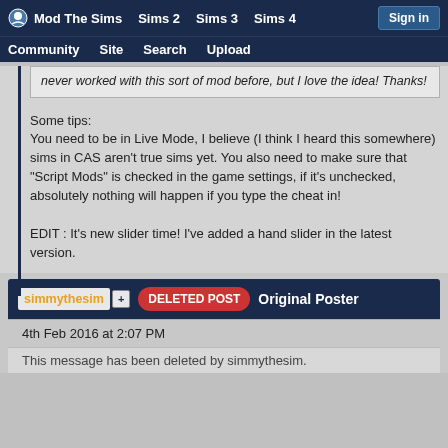Mod The Sims  Sims 2  Sims 3  Sims 4  Sign in  Community  Site  Search  Upload
never worked with this sort of mod before, but I love the idea! Thanks!
Some tips:
You need to be in Live Mode, I believe (I think I heard this somewhere) sims in CAS aren't true sims yet. You also need to make sure that "Script Mods" is checked in the game settings, if it's unchecked, absolutely nothing will happen if you type the cheat in!

EDIT : It's new slider time! I've added a hand slider in the latest version.
simmythesim  DELETED POST  Original Poster
4th Feb 2016 at 2:07 PM
This message has been deleted by simmythesim.